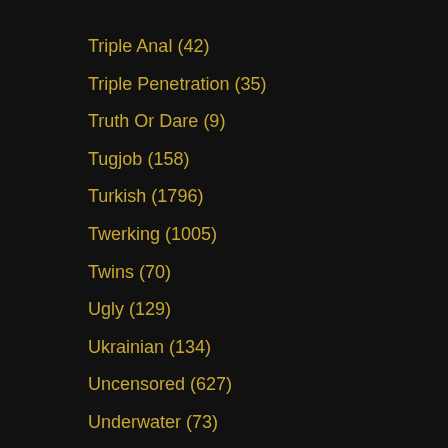Triple Anal (42)
Triple Penetration (35)
Truth Or Dare (9)
Tugjob (158)
Turkish (1796)
Twerking (1005)
Twins (70)
Ugly (129)
Ukrainian (134)
Uncensored (627)
Underwater (73)
Underwear (46)
Undressing (122)
Uniform (516)
University (46)